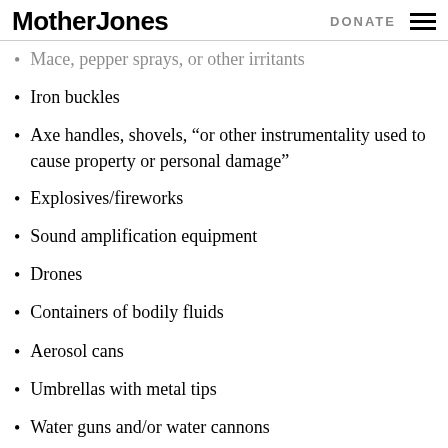Mother Jones | DONATE
Mace, pepper sprays, or other irritants
Iron buckles
Axe handles, shovels, “or other instrumentality used to cause property or personal damage”
Explosives/fireworks
Sound amplification equipment
Drones
Containers of bodily fluids
Aerosol cans
Umbrellas with metal tips
Water guns and/or water cannons
Rope, chain, cable, or strapping longer than six